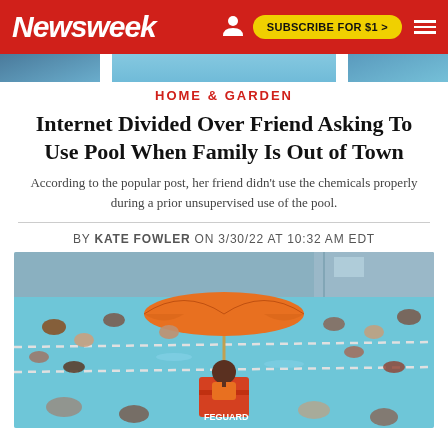Newsweek | SUBSCRIBE FOR $1 >
[Figure (photo): Partial photo strip at top of page showing pool/outdoor scene]
HOME & GARDEN
Internet Divided Over Friend Asking To Use Pool When Family Is Out of Town
According to the popular post, her friend didn't use the chemicals properly during a prior unsupervised use of the pool.
BY KATE FOWLER ON 3/30/22 AT 10:32 AM EDT
[Figure (photo): Crowded public swimming pool with a lifeguard sitting in an orange chair holding an orange umbrella, swimmers in the pool, lane ropes visible]